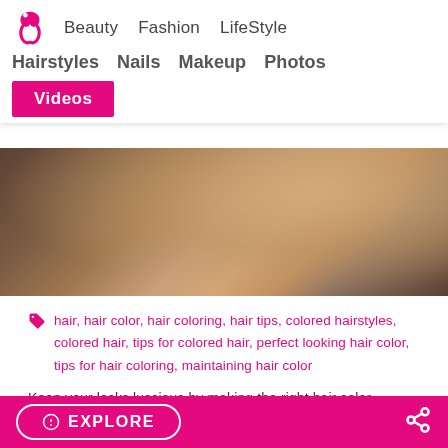Beauty   Fashion   LifeStyle
Hairstyles   Nails   Makeup   Photos
Videos
[Figure (photo): Close-up photo of a hand touching dark hair, showing skin tones and hair texture]
hair, hair color, hair coloring, hair tips, colored hairstyles, colored hair, tips for colored hair, perfect looking hair color, tips for hair coloring, maintaining hair color
Keep your locks luscious by making the right hair color choices. Achieving the perfect hair color is not easy, so take a peek at the
EXPLORE